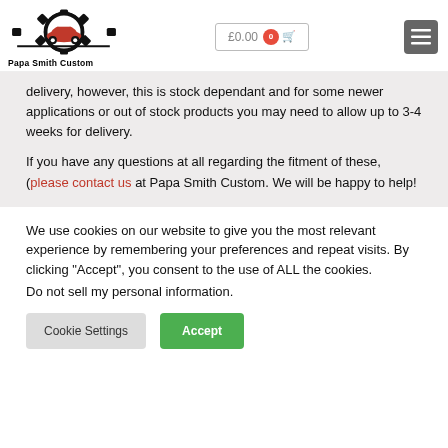[Figure (logo): Papa Smith Custom logo with gear icon and red car silhouette]
delivery, however, this is stock dependant and for some newer applications or out of stock products you may need to allow up to 3-4 weeks for delivery.
If you have any questions at all regarding the fitment of these, (please contact us at Papa Smith Custom. We will be happy to help!
We use cookies on our website to give you the most relevant experience by remembering your preferences and repeat visits. By clicking “Accept”, you consent to the use of ALL the cookies.
Do not sell my personal information.